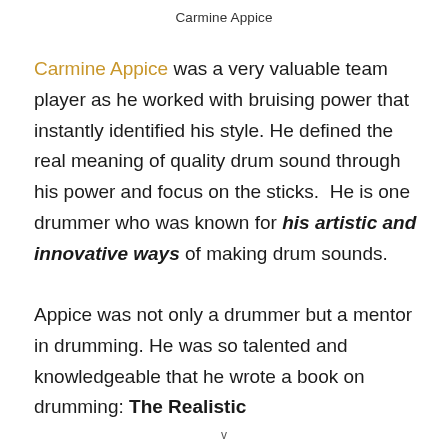Carmine Appice
Carmine Appice was a very valuable team player as he worked with bruising power that instantly identified his style. He defined the real meaning of quality drum sound through his power and focus on the sticks.  He is one drummer who was known for his artistic and innovative ways of making drum sounds.

Appice was not only a drummer but a mentor in drumming. He was so talented and knowledgeable that he wrote a book on drumming: The Realistic
v